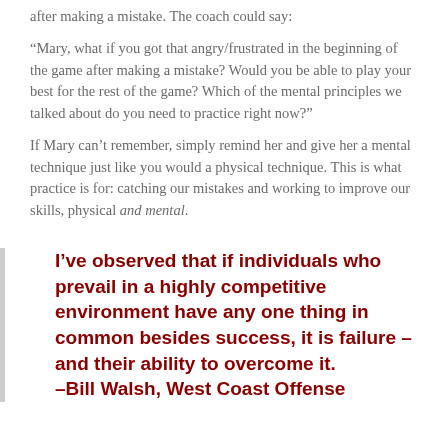after making a mistake. The coach could say:
“Mary, what if you got that angry/frustrated in the beginning of the game after making a mistake? Would you be able to play your best for the rest of the game? Which of the mental principles we talked about do you need to practice right now?”
If Mary can’t remember, simply remind her and give her a mental technique just like you would a physical technique. This is what practice is for: catching our mistakes and working to improve our skills, physical and mental.
I’ve observed that if individuals who prevail in a highly competitive environment have any one thing in common besides success, it is failure –and their ability to overcome it. –Bill Walsh, West Coast Offense